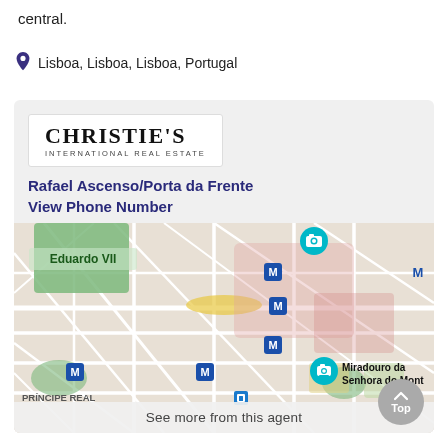central.
Lisboa, Lisboa, Lisboa, Portugal
[Figure (other): Christie's International Real Estate logo]
Rafael Ascenso/Porta da Frente
View Phone Number
[Figure (map): Street map of Lisbon showing Eduardo VII park, Miradouro da Senhora do Mont, PRÍNCIPE REAL area, and several metro (M) station markers.]
See more from this agent